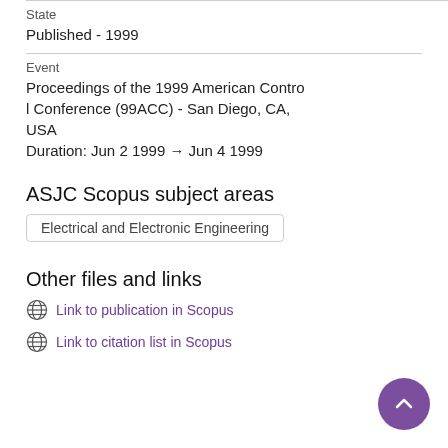State
Published - 1999
Event
Proceedings of the 1999 American Control Conference (99ACC) - San Diego, CA, USA
Duration: Jun 2 1999 → Jun 4 1999
ASJC Scopus subject areas
Electrical and Electronic Engineering
Other files and links
Link to publication in Scopus
Link to citation list in Scopus